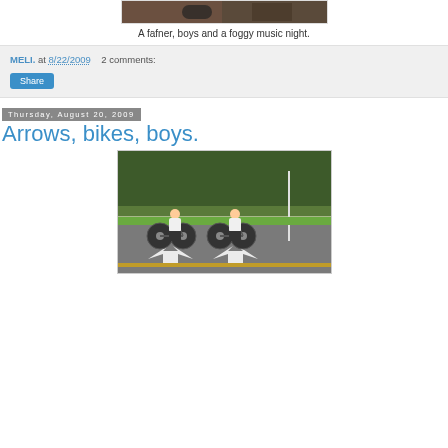[Figure (photo): Top cropped photo showing partial view of people, foggy music night scene]
A fafner, boys and a foggy music night.
MELI. at 8/22/2009   2 comments:
Share
Thursday, August 20, 2009
Arrows, bikes, boys.
[Figure (photo): Two young men riding bicycles on a road with arrow road markings, trees in background]